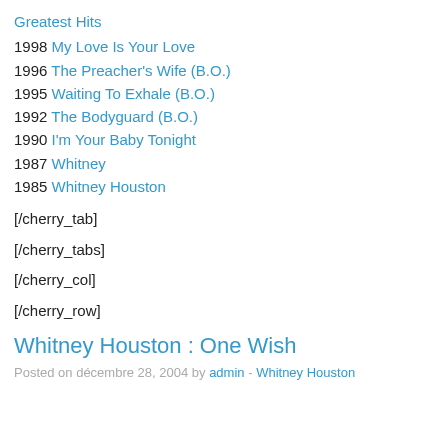Greatest Hits
1998 My Love Is Your Love
1996 The Preacher's Wife (B.O.)
1995 Waiting To Exhale (B.O.)
1992 The Bodyguard (B.O.)
1990 I'm Your Baby Tonight
1987 Whitney
1985 Whitney Houston
[/cherry_tab]
[/cherry_tabs]
[/cherry_col]
[/cherry_row]
Whitney Houston : One Wish
Posted on décembre 28, 2004 by admin - Whitney Houston